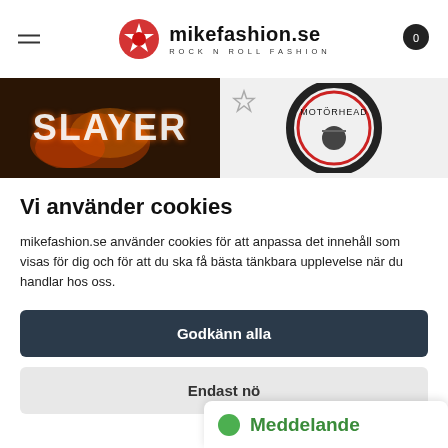mikefashion.se ROCK N ROLL FASHION
[Figure (screenshot): Banner showing Slayer band merchandise image on left and partial Motörhead logo on right with star outline]
Vi använder cookies
mikefashion.se använder cookies för att anpassa det innehåll som visas för dig och för att du ska få bästa tänkbara upplevelse när du handlar hos oss.
Godkänn alla
Endast nö
Meddelande